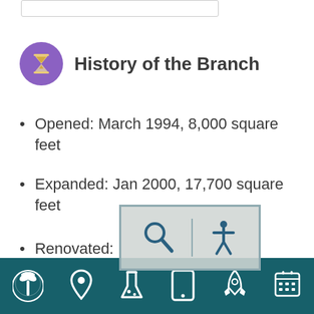[Figure (screenshot): Top partial UI element — bordered box at top of page]
History of the Branch
Opened: March 1994, 8,000 square feet
Expanded: Jan 2000, 17,700 square feet
Renovated: [partially obscured]
[Figure (screenshot): Accessibility overlay popup with magnifying glass and accessibility person icons]
[Figure (screenshot): Bottom navigation bar with teal background containing 6 icons: palm tree, location pin, flask/beaker, tablet, rocket, calendar grid]